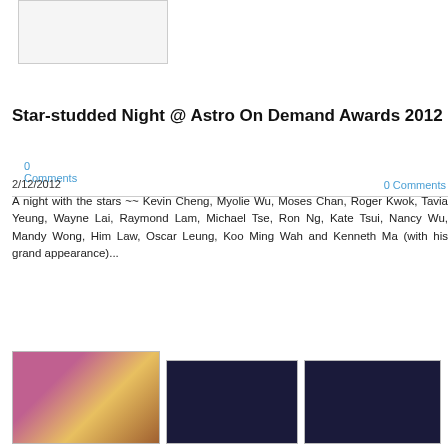[Figure (photo): Partial image at top of page, light gray placeholder]
0 Comments
Star-studded Night @ Astro On Demand Awards 2012
2/12/2012
0 Comments
A night with the stars ~~ Kevin Cheng, Myolie Wu, Moses Chan, Roger Kwok, Tavia Yeung, Wayne Lai, Raymond Lam, Michael Tse, Ron Ng, Kate Tsui, Nancy Wu, Mandy Wong, Him Law, Oscar Leung, Koo Ming Wah and Kenneth Ma (with his grand appearance)...
[Figure (photo): Three thumbnail photos from the Astro On Demand Awards 2012 event showing performers on stage]
[Figure (photo): Second thumbnail of performers on stage with bokeh lighting]
[Figure (photo): Third thumbnail of performers on stage]